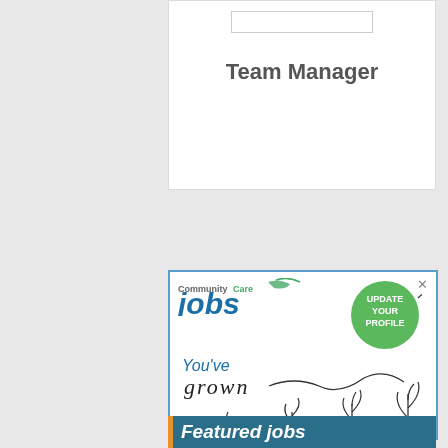Team Manager
[Figure (illustration): CommunityCare Jobs advertisement showing logo, 'UPDATE YOUR PROFILE' green circle button, 'You've grown' text with hand-drawn plants growing in pots illustration]
Featured jobs